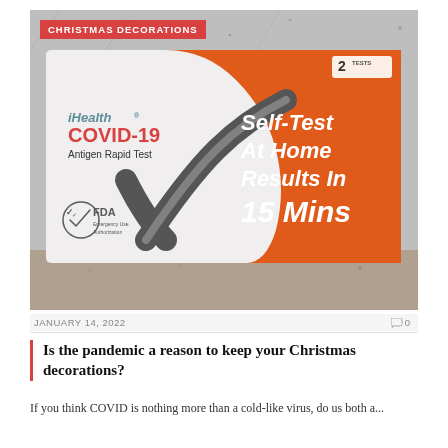[Figure (photo): Photo of an iHealth COVID-19 Antigen Rapid Test box on a granite countertop. The box is white and orange. Left side reads: iHealth COVID-19 Antigen Rapid Test. Right side (orange) reads: Self-Test At Home Results In 15 Mins. Top right corner shows '2 TESTS'. Bottom left has an FDA Emergency Use Authorization logo. A red banner at the top reads CHRISTMAS DECORATIONS.]
JANUARY 14, 2022
0
Is the pandemic a reason to keep your Christmas decorations?
If you think COVID is nothing more than a cold-like virus, do us both a...